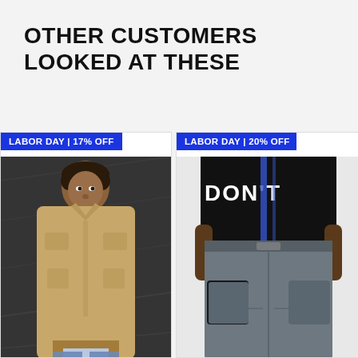OTHER CUSTOMERS LOOKED AT THESE
[Figure (photo): Man wearing a tan/khaki utility jacket over a light blue t-shirt, photographed against a dark textured background. Badge overlay reads 'LABOR DAY | 17% OFF'.]
[Figure (photo): Man wearing grey cargo pants and a black graphic t-shirt, partially cropped. Badge overlay reads 'LABOR DAY | 20% OFF'.]